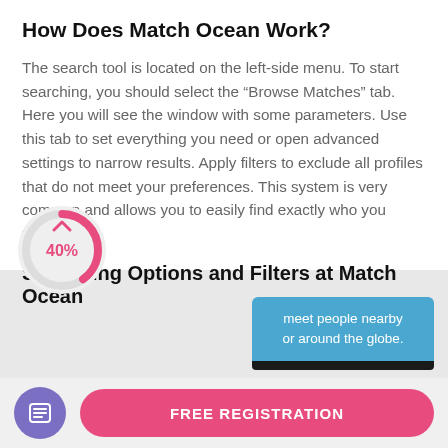How Does Match Ocean Work?
The search tool is located on the left-side menu. To start searching, you should select the “Browse Matches” tab. Here you will see the window with some parameters. Use this tab to set everything you need or open advanced settings to narrow results. Apply filters to exclude all profiles that do not meet your preferences. This system is very common and allows you to easily find exactly who you want.
Searching Options and Filters at Match Ocean
[Figure (infographic): Donut chart widget showing 40% in pink text with a partial arc, partially overlapping the section header. A blue banner on the right reads 'meet people nearby or around the globe.' with a black phone bezel at the bottom.]
FREE REGISTRATION